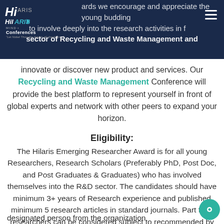Hilaris Conferences navigation bar with logo and menu
awards we encourage and appreciate the young budding to involve deeply into the research activities in the sector of Recycling and Waste Management and innovate or discover new product and services. Our Recycling and Waste Management Conference will provide the best platform to represent yourself in front of global experts and network with other peers to expand your horizon.
Eligibility:
The Hilaris Emerging Researcher Award is for all young Researchers, Research Scholars (Preferably PhD, Post Doc, and Post Graduates & Graduates) who has involved themselves into the R&D sector. The candidates should have minimum 3+ years of Research experience and published minimum 5 research articles in standard journals. Part time researchers can be considered subject to recommended by the research guide or any director level designated person from the organization